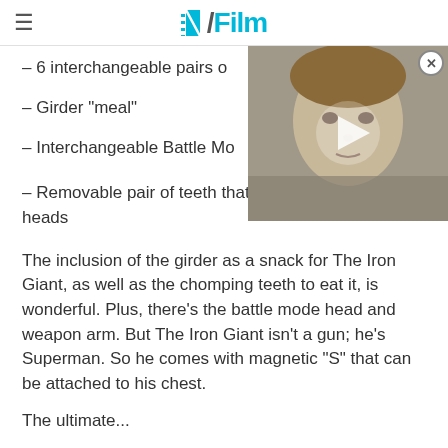/ Film
– 6 interchangeable pairs o
– Girder "meal"
– Interchangeable Battle Mo
[Figure (photo): Video thumbnail showing a young boy with bowl-cut hair looking serious, with a play button overlay and close button]
– Removable pair of teeth that can be used with all heads
The inclusion of the girder as a snack for The Iron Giant, as well as the chomping teeth to eat it, is wonderful. Plus, there's the battle mode head and weapon arm. But The Iron Giant isn't a gun; he's Superman. So he comes with magnetic "S" that can be attached to his chest.
The ultimate...